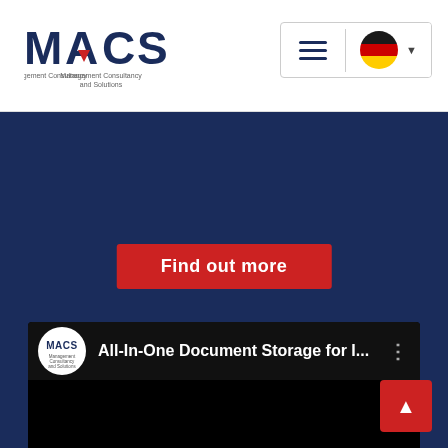[Figure (logo): MACS Management Consultancy and Solutions logo with red arrow accent]
[Figure (screenshot): Navigation controls: hamburger menu and German flag language selector]
Find out more
[Figure (screenshot): Embedded YouTube-style video thumbnail showing MACS logo and title 'All-In-One Document Storage for I...' on dark background]